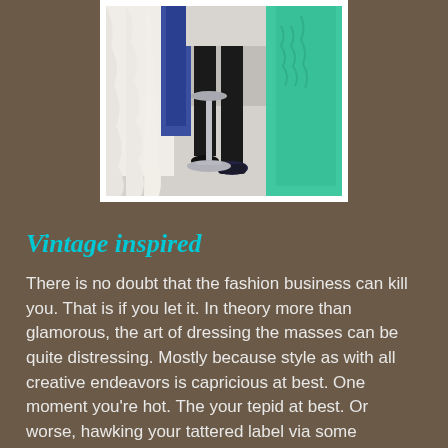[Figure (photo): A person in black trousers and black shoes standing near a clothing rack with white lace, blue, and teal/mint green garments hanging, with a chrome stool visible in the background on a light floor.]
Vintage inspired
There is no doubt that the fashion business can kill you. That is if you let it. In theory more than glamorous, the art of dressing the masses can be quite distressing. Mostly because style as with all creative endeavors is capricious at best. One moment you're hot. The your tepid at best. Or worse, hawking your tattered label via some televised shopping outlet. The problem is that when you're on top it's a short fall to reality. One that came close...